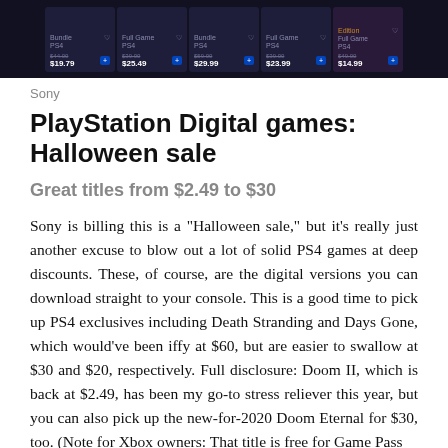[Figure (screenshot): Screenshot of PlayStation Store sale listings showing game cards with prices: $19.79, $25.49, $29.99, $23.99, $14.99 on a dark background]
Sony
PlayStation Digital games: Halloween sale
Great titles from $2.49 to $30
Sony is billing this is a "Halloween sale," but it's really just another excuse to blow out a lot of solid PS4 games at deep discounts. These, of course, are the digital versions you can download straight to your console. This is a good time to pick up PS4 exclusives including Death Stranding and Days Gone, which would've been iffy at $60, but are easier to swallow at $30 and $20, respectively. Full disclosure: Doom II, which is back at $2.49, has been my go-to stress reliever this year, but you can also pick up the new-for-2020 Doom Eternal for $30, too. (Note for Xbox owners: That title is free for Game Pass